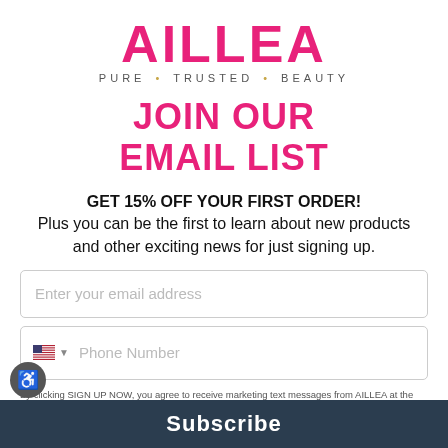[Figure (logo): AILLEA logo with tagline PURE TRUSTED BEAUTY]
JOIN OUR EMAIL LIST
GET 15% OFF YOUR FIRST ORDER! Plus you can be the first to learn about new products and other exciting news for just signing up.
Enter your email address
Phone Number
By clicking SIGN UP NOW, you agree to receive marketing text messages from AILLEA at the number provided, including messages sent by autodialer. Consent is not a condition of any purchase. Message and data rates may apply. Message frequency varies. Reply HELP for help or STOP to cancel. View our Privacy Policy and Terms of Service.
Subscribe